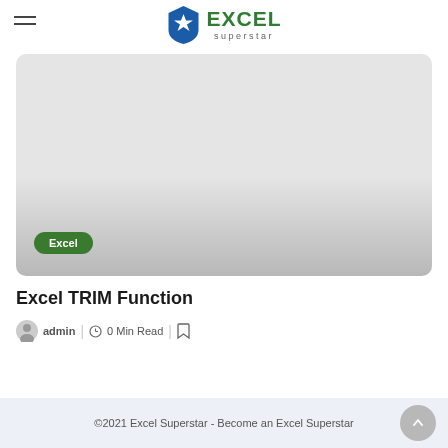EXCEL superstar
[Figure (screenshot): Gray card image area with an 'Excel' green pill badge label in the lower left corner]
Excel TRIM Function
admin | O 0 Min Read | bookmark icon
©2021 Excel Superstar - Become an Excel Superstar